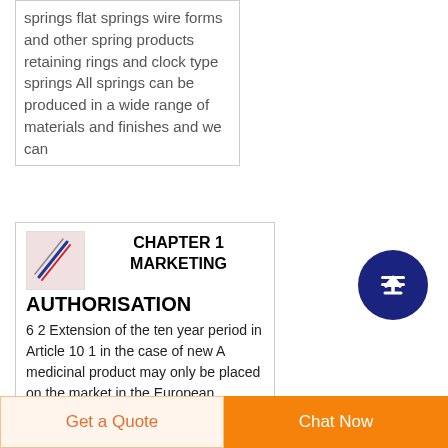springs flat springs wire forms and other spring products retaining rings and clock type springs All springs can be produced in a wide range of materials and finishes and we can
CHAPTER 1 MARKETING AUTHORISATION
6 2 Extension of the ten year period in Article 10 1 in the case of new A medicinal product may only be placed on the market in the European
Get a Quote
Chat Now